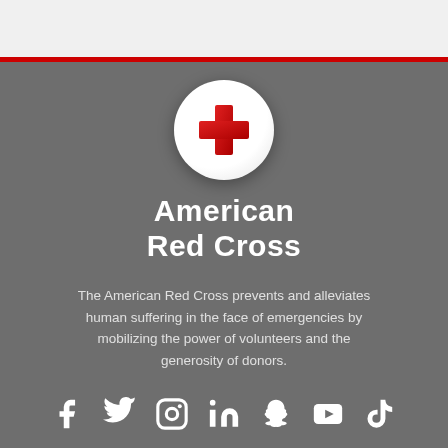[Figure (logo): American Red Cross circular logo with white background and red cross symbol]
American Red Cross
The American Red Cross prevents and alleviates human suffering in the face of emergencies by mobilizing the power of volunteers and the generosity of donors.
[Figure (infographic): Social media icons: Facebook, Twitter, Instagram, LinkedIn, Snapchat, YouTube, TikTok]